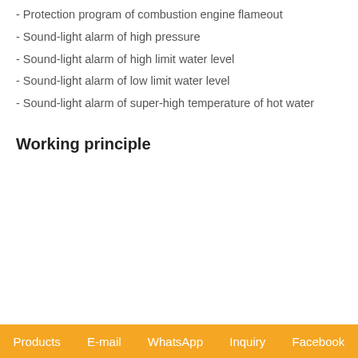- Protection program of combustion engine flameout
- Sound-light alarm of high pressure
- Sound-light alarm of high limit water level
- Sound-light alarm of low limit water level
- Sound-light alarm of super-high temperature of hot water
Working principle
Products   E-mail   WhatsApp   Inquiry   Facebook